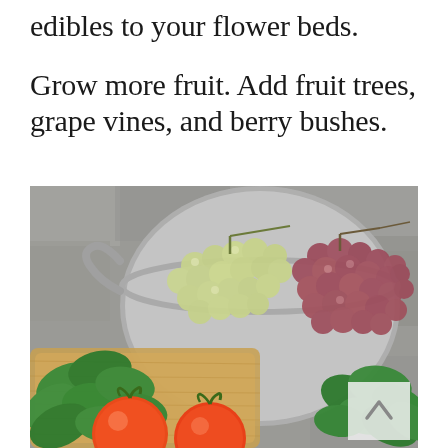edibles to your flower beds.
Grow more fruit. Add fruit trees, grape vines, and berry bushes.
[Figure (photo): Overhead view of a colander filled with green and red grapes, surrounded by fresh basil leaves and two ripe tomatoes on a wooden cutting board and stone surface. A small scroll-to-top button with a caret icon is visible in the bottom-right corner of the image.]